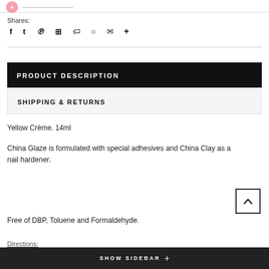Shares:
f  t  p  #  bookmark  heart  mail  +
PRODUCT DESCRIPTION
SHIPPING & RETURNS
Yellow Crème. 14ml
China Glaze is formulated with special adhesives and China Clay as a nail hardener.
Free of DBP, Toluene and Formaldehyde.
Directions: